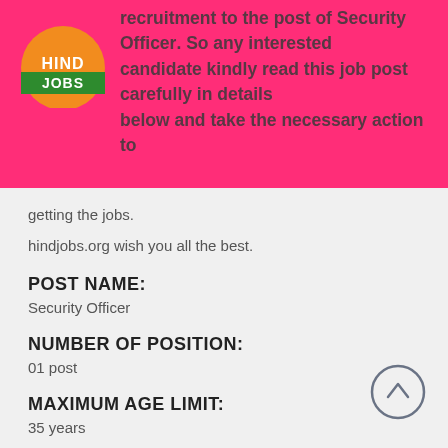recruitment to the post of Security Officer. So any interested candidate kindly read this job post carefully in details below and take the necessary action to
[Figure (logo): Hind Jobs logo: orange semicircle with green band and white text HIND JOBS]
getting the jobs.
hindjobs.org wish you all the best.
POST NAME:
Security Officer
NUMBER OF POSITION:
01 post
MAXIMUM AGE LIMIT:
35 years
SALARY: